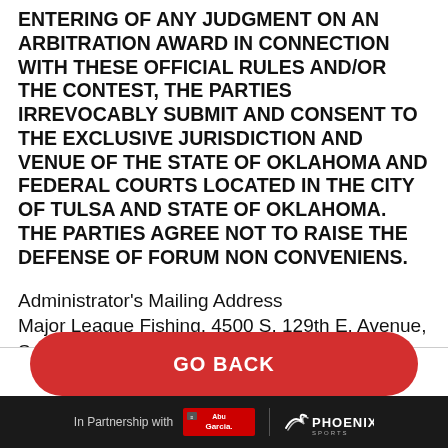ENTERING OF ANY JUDGMENT ON AN ARBITRATION AWARD IN CONNECTION WITH THESE OFFICIAL RULES AND/OR THE CONTEST, THE PARTIES IRREVOCABLY SUBMIT AND CONSENT TO THE EXCLUSIVE JURISDICTION AND VENUE OF THE STATE OF OKLAHOMA AND FEDERAL COURTS LOCATED IN THE CITY OF TULSA AND STATE OF OKLAHOMA. THE PARTIES AGREE NOT TO RAISE THE DEFENSE OF FORUM NON CONVENIENS.
Administrator's Mailing Address
Major League Fishing, 4500 S. 129th E. Avenue, Suite 301, Tulsa, Oklahoma, 74134.
[Figure (other): GO BACK button - red rounded rectangle button]
In Partnership with Abu Garcia | PHOENIX SPORTS